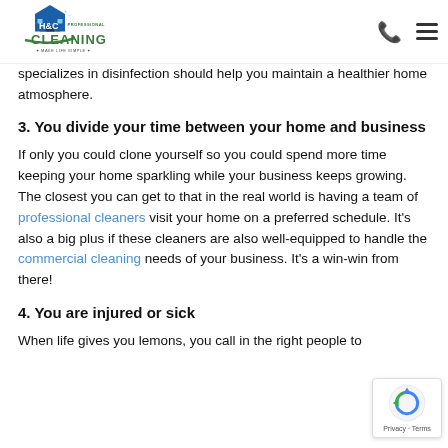[Figure (logo): H&C Professional Cleaning logo with house icon and tagline 'Make Life Simple']
specializes in disinfection should help you maintain a healthier home atmosphere.
3. You divide your time between your home and business
If only you could clone yourself so you could spend more time keeping your home sparkling while your business keeps growing. The closest you can get to that in the real world is having a team of professional cleaners visit your home on a preferred schedule. It's also a big plus if these cleaners are also well-equipped to handle the commercial cleaning needs of your business. It's a win-win from there!
4. You are injured or sick
When life gives you lemons, you call in the right people to